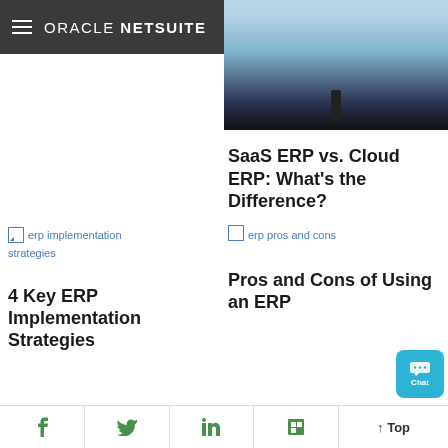ORACLE NETSUITE — Free Tour
[Figure (photo): Partial photo of a presentation stage with a person standing, blue/dark background, partially visible at top-right of page]
SaaS ERP vs. Cloud ERP: What’s the Difference?
[Figure (other): Broken image placeholder labeled 'erp implementation strategies']
4 Key ERP Implementation Strategies
[Figure (other): Broken image placeholder labeled 'erp pros and cons']
Pros and Cons of Using an ERP
f  Twitter  in  Flipboard  ↑ Top